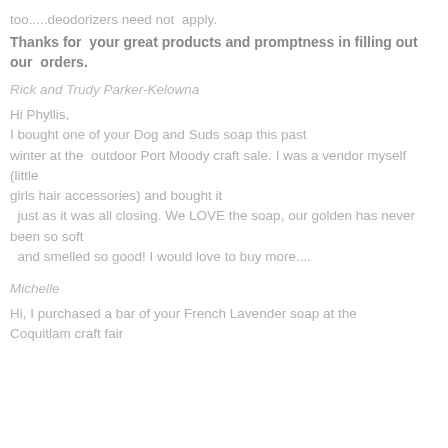too.....deodorizers need not  apply.
Thanks for  your great products and promptness in filling out
our  orders.
Rick and Trudy Parker-Kelowna
Hi Phyllis,
I bought one of your Dog and Suds soap this past winter at the  outdoor Port Moody craft sale. I was a vendor myself (little
girls hair accessories) and bought it
  just as it was all closing. We LOVE the soap, our golden has never been so soft
  and smelled so good! I would love to buy more....
Michelle
Hi, I purchased a bar of your French Lavender soap at the Coquitlam craft fair